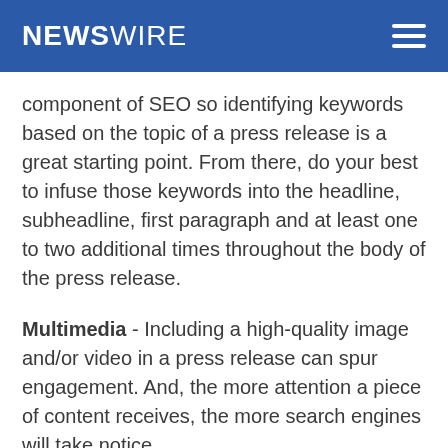NEWSWIRE
component of SEO so identifying keywords based on the topic of a press release is a great starting point. From there, do your best to infuse those keywords into the headline, subheadline, first paragraph and at least one to two additional times throughout the body of the press release.
Multimedia - Including a high-quality image and/or video in a press release can spur engagement. And, the more attention a piece of content receives, the more search engines will take notice.